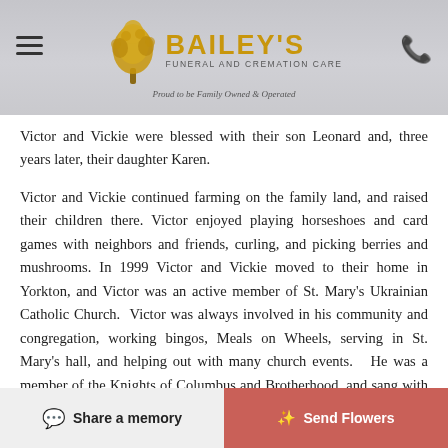Bailey's Funeral and Cremation Care — Proud to be Family Owned & Operated
Victor and Vickie were blessed with their son Leonard and, three years later, their daughter Karen.
Victor and Vickie continued farming on the family land, and raised their children there. Victor enjoyed playing horseshoes and card games with neighbors and friends, curling, and picking berries and mushrooms. In 1999 Victor and Vickie moved to their home in Yorkton, and Victor was an active member of St. Mary's Ukrainian Catholic Church. Victor was always involved in his community and congregation, working bingos, Meals on Wheels, serving in St. Mary's hall, and helping out with many church events. He was a member of the Knights of Columbus and Brotherhood, and sang with a
Share a memory | Send Flowers